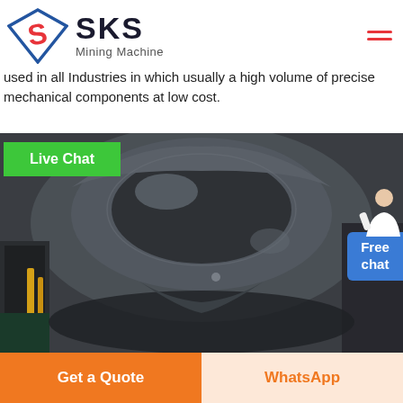[Figure (logo): SKS Mining Machine logo with diamond/S-shaped icon in red and blue, company name SKS in bold dark text, subtitle Mining Machine]
used in all Industries in which usually a high volume of precise mechanical components at low cost.
[Figure (photo): Close-up photo of a large dark grey industrial mining machine component, likely a cone crusher or mill bowl, showing heavy cast metal construction with glossy painted surface, industrial equipment visible in background]
Live Chat
Free chat
Get a Quote
WhatsApp